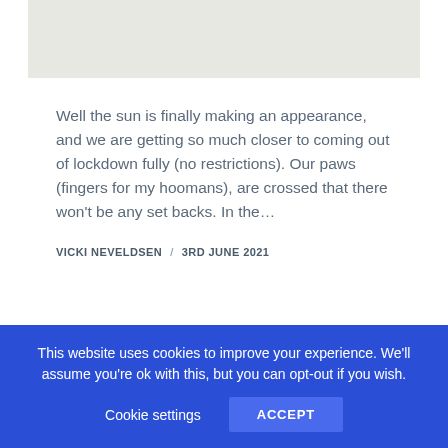[Figure (photo): Light-colored background image at top of article card]
Well the sun is finally making an appearance, and we are getting so much closer to coming out of lockdown fully (no restrictions). Our paws (fingers for my hoomans), are crossed that there won't be any set backs. In the…
VICKI NEVELDSEN / 3RD JUNE 2021
This website uses cookies to improve your experience. We'll assume you're ok with this, but you can opt-out if you wish.
Cookie settings ACCEPT